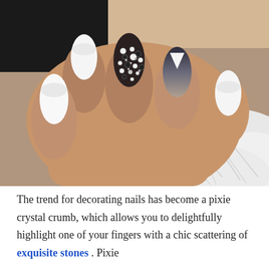[Figure (photo): Close-up photograph of a woman's hand with decorated nails in an almond shape. Nails feature a mix of white solid polish, dark navy-to-grey ombre gradient with a white negative space detail, and one accent nail covered in black and white crystal rhinestones (pixie crystal/glitter). The hand rests against white fluffy fur fabric.]
The trend for decorating nails has become a pixie crystal crumb, which allows you to delightfully highlight one of your fingers with a chic scattering of exquisite stones . Pixie